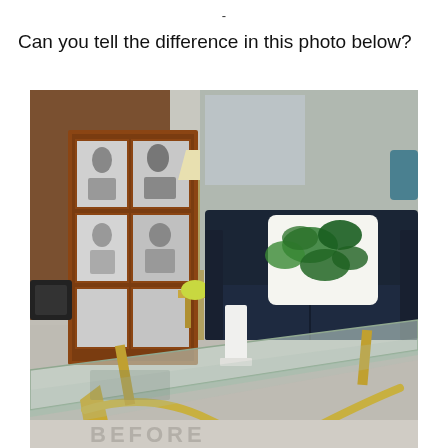-
Can you tell the difference in this photo below?
[Figure (photo): Interior living room photo showing a glass-top coffee table with gold/brass legs in the foreground, a dark navy blue leather sofa with a green tropical leaf print pillow in the background, a wooden cabinet/bookcase with black and white photos on the left, a floor lamp, and a light grey rug. The bottom of the image shows a reflection or partial view beneath the glass table.]